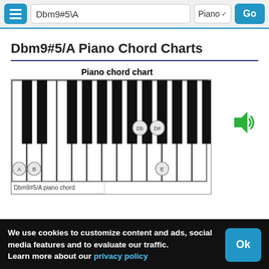Dbm9#5\A  Piano  Go
Dbm9#5/A Piano Chord Charts
[Figure (illustration): Piano chord chart showing a segment of piano keys with note markers on keys A, B, Db, D#, and E for the Dbm9#5/A chord. Label reads 'Dbm9#5/A piano chord'.]
We use cookies to customize content and ads, social media features and to evaluate our traffic.
Learn more about our privacy policy